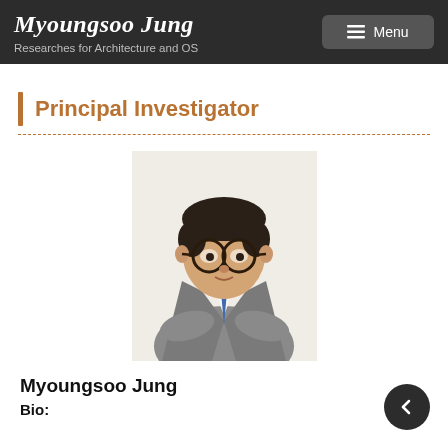Myoungsoo Jung — Researches for Architecture and OS — Menu
Principal Investigator
[Figure (photo): Portrait photo of Myoungsoo Jung, a man wearing glasses, a grey suit, and blue tie, with arms crossed]
Myoungsoo Jung
Bio: